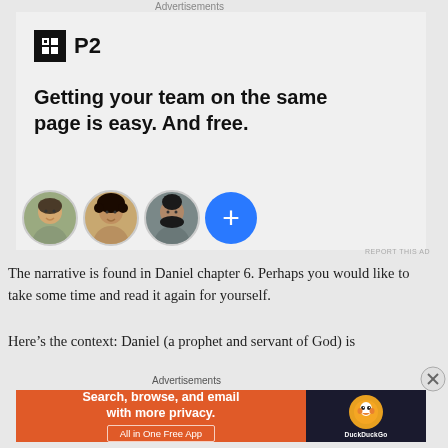[Figure (illustration): P2 advertisement banner with logo, headline 'Getting your team on the same page is easy. And free.' and three profile photo avatars plus a blue plus button]
The narrative is found in Daniel chapter 6. Perhaps you would like to take some time and read it again for yourself.
Here’s the context: Daniel (a prophet and servant of God) is
[Figure (illustration): DuckDuckGo advertisement: 'Search, browse, and email with more privacy. All in One Free App' with DuckDuckGo logo on dark background]